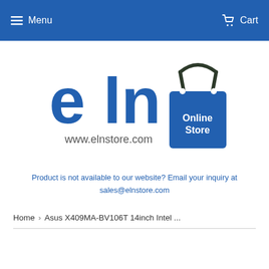Menu   Cart
[Figure (logo): eLN Online Store logo with shopping bag icon and www.elnstore.com text]
Product is not available to our website? Email your inquiry at sales@elnstore.com
Home › Asus X409MA-BV106T 14inch Intel ...